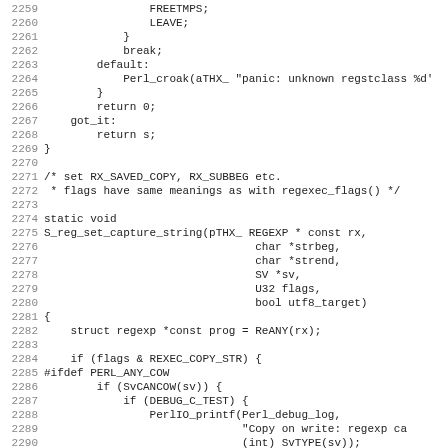[Figure (screenshot): Source code listing in monospace font showing C code lines 2259-2290, including a switch-case default block, a function definition S_reg_set_capture_string, and conditional compilation blocks with #ifdef PERL_ANY_COW.]